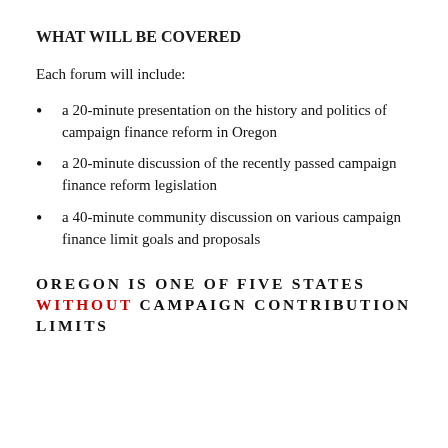WHAT WILL BE COVERED
Each forum will include:
a 20-minute presentation on the history and politics of campaign finance reform in Oregon
a 20-minute discussion of the recently passed campaign finance reform legislation
a 40-minute community discussion on various campaign finance limit goals and proposals
OREGON IS ONE OF FIVE STATES WITHOUT CAMPAIGN CONTRIBUTION LIMITS